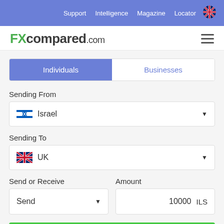Support  Intelligence  Magazine  Locator
FXcompared.com
Individuals | Businesses
Sending From
Israel
Sending To
UK
Send or Receive
Amount
Send
10000  ILS
COMPARE NOW